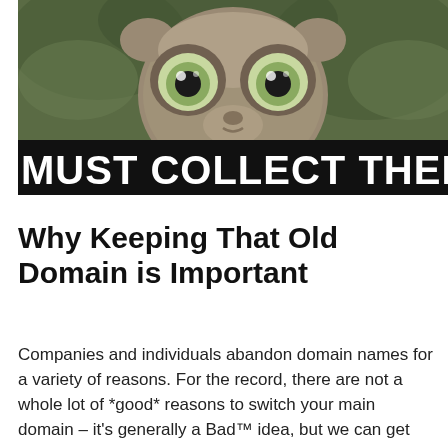[Figure (photo): Meme image of a wide-eyed tarsier-like animal (slow loris) with a black text bar at the bottom reading 'MUST COLLECT THEM ALL']
Why Keeping That Old Domain is Important
Companies and individuals abandon domain names for a variety of reasons. For the record, there are not a whole lot of *good* reasons to switch your main domain – it's generally a Bad™ idea, but we can get into that in another post. Let's say, arguendo, that you have already decided to change your primary [...]